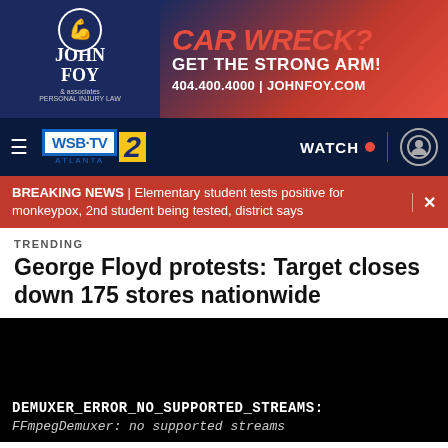[Figure (screenshot): Advertisement for John Foy & Associates personal injury law. Left side shows logo with text 'JOHN FOY & associates PERSONAL INJURY LAW'. Right side shows text 'CAR WRECK? GET THE STRONG ARM! 404.400.4000 | JOHNFOY.COM' on dark blue/red background.]
[Figure (screenshot): WSB-TV Channel 2 Atlanta navigation bar with hamburger menu, logo, WATCH button with red dot, and user account icon.]
BREAKING NEWS | Elementary student tests positive for monkeypox, 2nd student being tested, district says
TRENDING
George Floyd protests: Target closes down 175 stores nationwide
[Figure (screenshot): Black video player area showing error message: DEMUXER_ERROR_NO_SUPPORTED_STREAMS: FFmpegDemuxer: no supported streams]
DEMUXER_ERROR_NO_SUPPORTED_STREAMS: FFmpegDemuxer: no supported streams